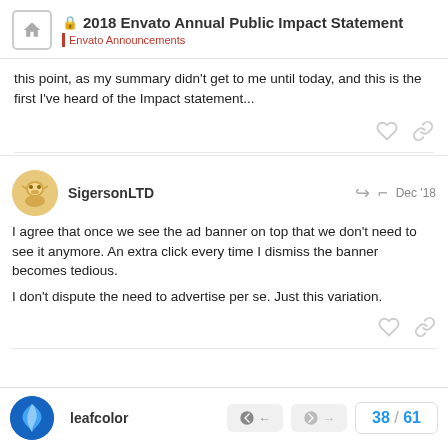2018 Envato Annual Public Impact Statement — Envato Announcements
this point, as my summary didn't get to me until today, and this is the first I've heard of the Impact statement...
SigersonLTD — Dec '18
I agree that once we see the ad banner on top that we don't need to see it anymore. An extra click every time I dismiss the banner becomes tedious.
I don't dispute the need to advertise per se. Just this variation.
leafcolor — 38 / 61